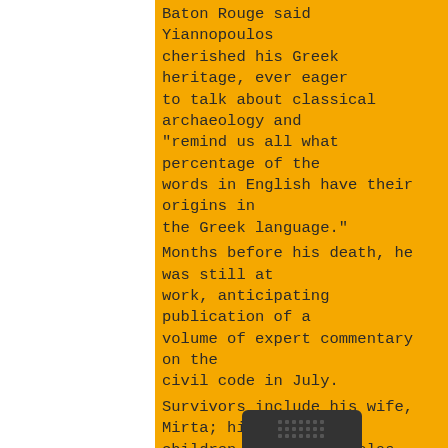Baton Rouge said Yiannopoulos cherished his Greek heritage, ever eager to talk about classical archaeology and "remind us all what percentage of the words in English have their origins in the Greek language."
Months before his death, he was still at work, anticipating publication of a volume of expert commentary on the civil code in July.
Survivors include his wife, Mirta; his children, Maria, Nicholas, Alexander and Philip Yiannopoulos; a sister, Aspasia Sougaria; and several grandchildren.

Plans for a memorial service are incomplete.
LOCAL